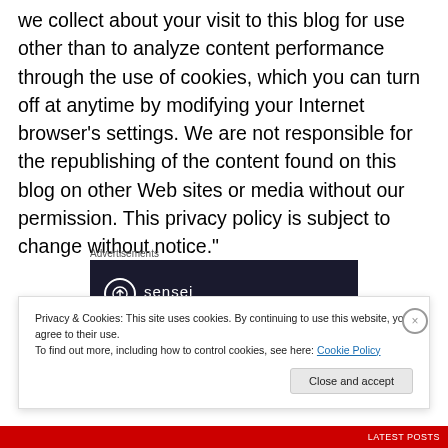we collect about your visit to this blog for use other than to analyze content performance through the use of cookies, which you can turn off at anytime by modifying your Internet browser's settings. We are not responsible for the republishing of the content found on this blog on other Web sites or media without our permission. This privacy policy is subject to change without notice."
Advertisements
[Figure (logo): Sensei advertisement banner with dark background showing sensei logo (circle with arrow icon) and brand name]
Privacy & Cookies: This site uses cookies. By continuing to use this website, you agree to their use.
To find out more, including how to control cookies, see here: Cookie Policy
Close and accept